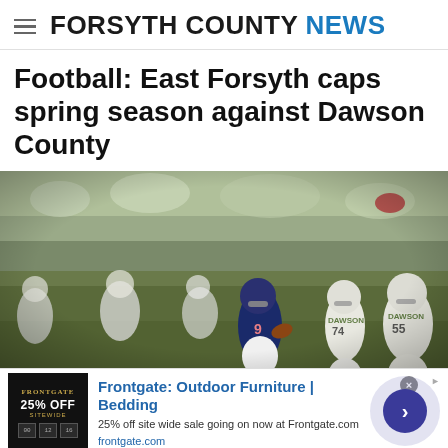FORSYTH COUNTY NEWS
Football: East Forsyth caps spring season against Dawson County
[Figure (photo): Football player wearing navy jersey number 9 running with the ball, surrounded by opposing players in white uniforms with 'Dawson' on their jerseys, during a spring football game with spectators in the background]
Frontgate: Outdoor Furniture | Bedding
25% off site wide sale going on now at Frontgate.com
frontgate.com